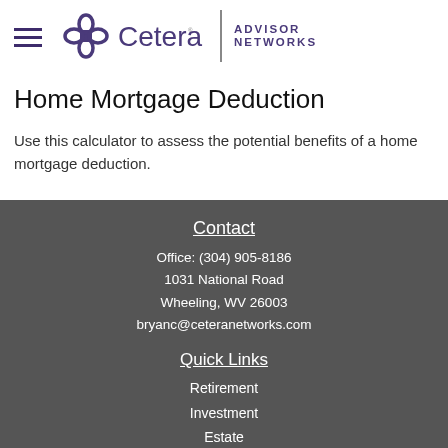Cetera Advisor Networks
Home Mortgage Deduction
Use this calculator to assess the potential benefits of a home mortgage deduction.
Contact
Office: (304) 905-8186
1031 National Road
Wheeling, WV 26003
bryanc@ceteranetworks.com
Quick Links
Retirement
Investment
Estate
Insurance